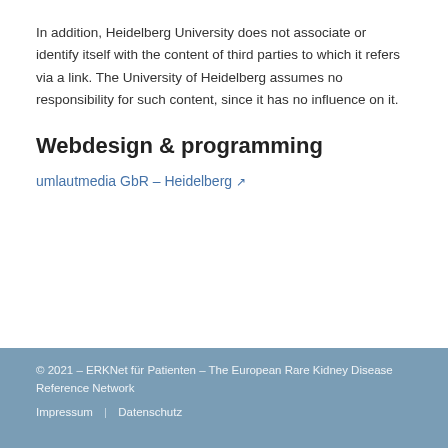In addition, Heidelberg University does not associate or identify itself with the content of third parties to which it refers via a link. The University of Heidelberg assumes no responsibility for such content, since it has no influence on it.
Webdesign & programming
umlautmedia GbR – Heidelberg [external link icon]
© 2021 – ERKNet für Patienten – The European Rare Kidney Disease Reference Network | Impressum | Datenschutz